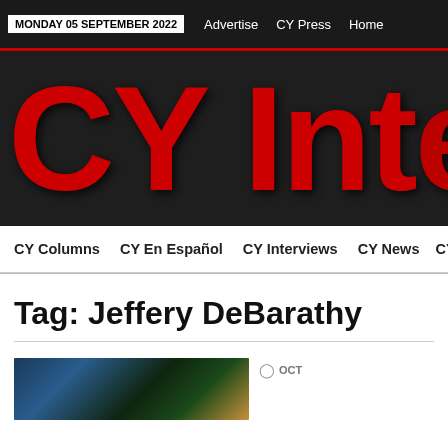MONDAY 05 SEPTEMBER 2022  Advertise  CY Press  Home
[Figure (logo): CY International news website logo with large red bold text 'CY Inte' on dark background, cropped on right]
CY Columns  CY En Español  CY Interviews  CY News  CY W
Tag: Jeffery DeBarathy
[Figure (photo): Thumbnail image with dark blue and green tones, partially visible article image]